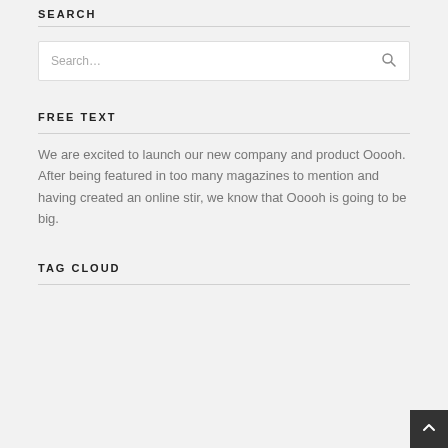SEARCH
[Figure (other): Search input box with placeholder text 'Search...' and a magnifying glass icon]
FREE TEXT
We are excited to launch our new company and product Ooooh. After being featured in too many magazines to mention and having created an online stir, we know that Ooooh is going to be big.
TAG CLOUD